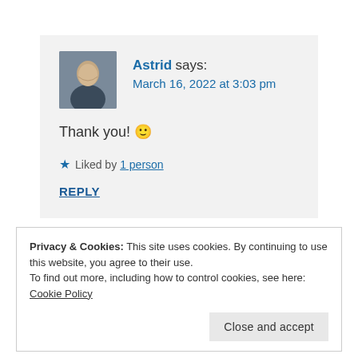Astrid says: March 16, 2022 at 3:03 pm
Thank you! 🙂
★ Liked by 1 person
REPLY
Privacy & Cookies: This site uses cookies. By continuing to use this website, you agree to their use.
To find out more, including how to control cookies, see here: Cookie Policy
Close and accept